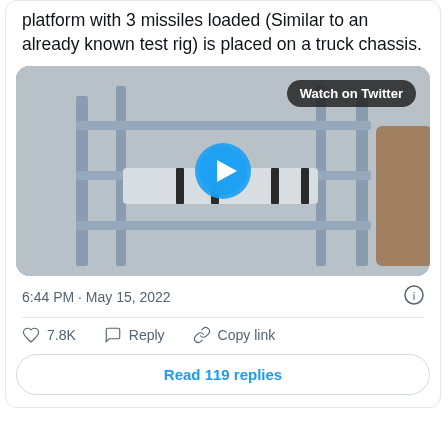platform with 3 missiles loaded (Similar to an already known test rig) is placed on a truck chassis.
[Figure (screenshot): Screenshot of a Twitter/X video thumbnail showing a missile launcher platform with 3 missiles loaded on a metal frame, with a blue play button overlaid in the center. A 'Watch on Twitter' badge appears in the top right of the video.]
6:44 PM · May 15, 2022
7.8K   Reply   Copy link
Read 119 replies